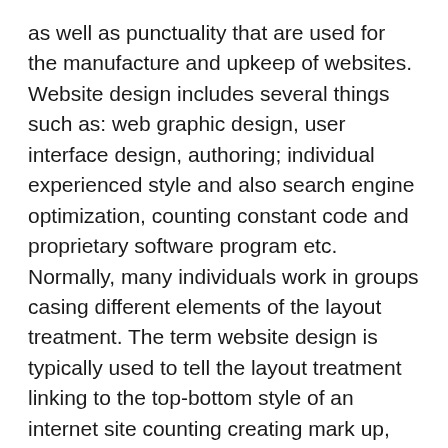as well as punctuality that are used for the manufacture and upkeep of websites. Website design includes several things such as: web graphic design, user interface design, authoring; individual experienced style and also search engine optimization, counting constant code and proprietary software program etc. Normally, many individuals work in groups casing different elements of the layout treatment. The term website design is typically used to tell the layout treatment linking to the top-bottom style of an internet site counting creating mark up, yet this is a location which is additionally confined by internet advancement.
The web forms of several pages, offering information with various modern technologies and connected along with hyperlinks. There are two vital facets of any type of website for coming from on the Internet. Initially one is a setup that the visitors communicates with, generally visually, when the time is a back-end that uses info for...